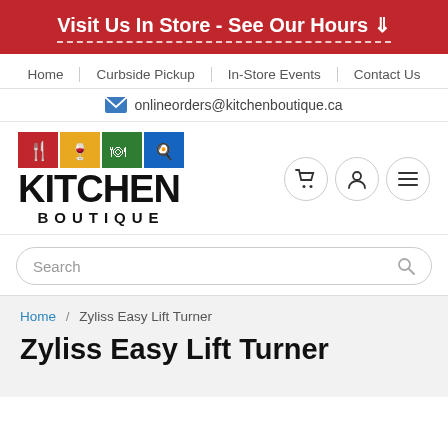Visit Us In Store - See Our Hours ↓
Home | Curbside Pickup | In-Store Events | Contact Us
onlineorders@kitchenboutique.ca
[Figure (logo): Kitchen Boutique logo with colored icon boxes (red, gold, green, blue) showing kitchen utensils, and large text KITCHEN BOUTIQUE]
Search
Home / Zyliss Easy Lift Turner
Zyliss Easy Lift Turner